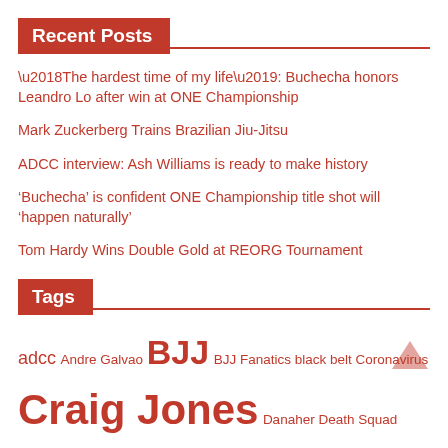Recent Posts
‘The hardest time of my life’: Buchecha honors Leandro Lo after win at ONE Championship
Mark Zuckerberg Trains Brazilian Jiu-Jitsu
ADCC interview: Ash Williams is ready to make history
‘Buchecha’ is confident ONE Championship title shot will ‘happen naturally’
Tom Hardy Wins Double Gold at REORG Tournament
Tags
adcc Andre Galvao BJJ BJJ Fanatics black belt Coronavirus Craig Jones Danaher Death Squad Dante Leon ffion davies